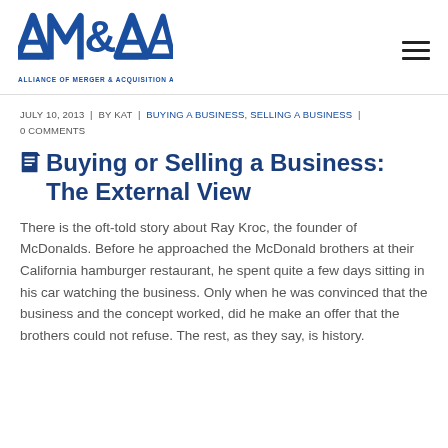[Figure (logo): AM&AA - Alliance of Merger & Acquisition Advisors logo in blue]
JULY 10, 2013  |  BY KAT  |  BUYING A BUSINESS, SELLING A BUSINESS  |  0 COMMENTS
Buying or Selling a Business: The External View
There is the oft-told story about Ray Kroc, the founder of McDonalds. Before he approached the McDonald brothers at their California hamburger restaurant, he spent quite a few days sitting in his car watching the business. Only when he was convinced that the business and the concept worked, did he make an offer that the brothers could not refuse. The rest, as they say, is history.